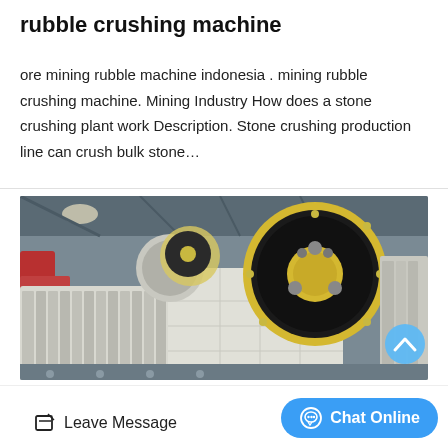rubble crushing machine
ore mining rubble machine indonesia . mining rubble crushing machine. Mining Industry How does a stone crushing plant work Description. Stone crushing production line can crush bulk stone…
[Figure (photo): Industrial jaw crusher machine with large yellow-rimmed black flywheel, white body with ribbed sides, installed in a factory warehouse setting.]
Leave Message  Chat Online